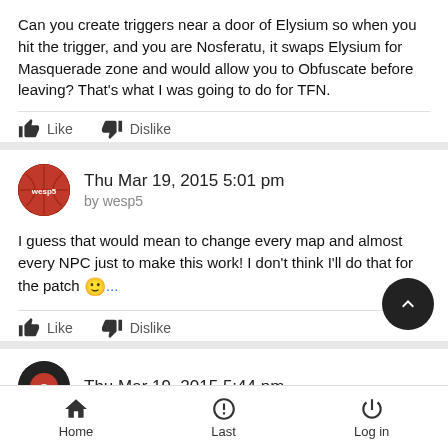Can you create triggers near a door of Elysium so when you hit the trigger, and you are Nosferatu, it swaps Elysium for Masquerade zone and would allow you to Obfuscate before leaving? That's what I was going to do for TFN.
Like  Dislike
Thu Mar 19, 2015 5:01 pm
by wesp5
I guess that would mean to change every map and almost every NPC just to make this work! I don't think I'll do that for the patch 🙂...
Like  Dislike
Thu Mar 19, 2015 5:44 pm
Home  Last  Log in